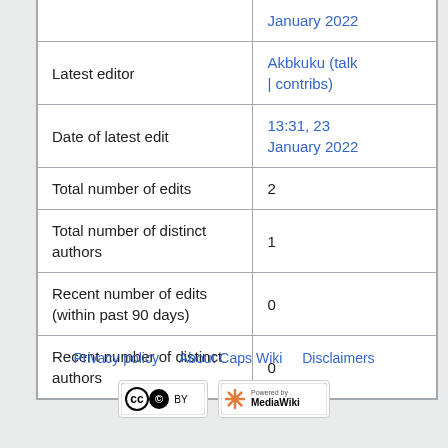| Property | Value |
| --- | --- |
|  | January 2022 |
| Latest editor | Akbkuku (talk | contribs) |
| Date of latest edit | 13:31, 23 January 2022 |
| Total number of edits | 2 |
| Total number of distinct authors | 1 |
| Recent number of edits (within past 90 days) | 0 |
| Recent number of distinct authors | 0 |
Privacy policy   About Caps Wiki   Disclaimers